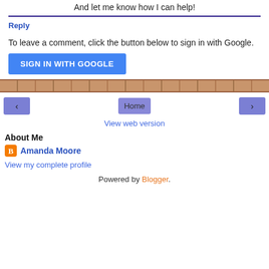And let me know how I can help!
Reply
To leave a comment, click the button below to sign in with Google.
[Figure (other): Blue 'SIGN IN WITH GOOGLE' button]
[Figure (photo): Horizontal brick wall texture bar]
‹
Home
›
View web version
About Me
Amanda Moore
View my complete profile
Powered by Blogger.